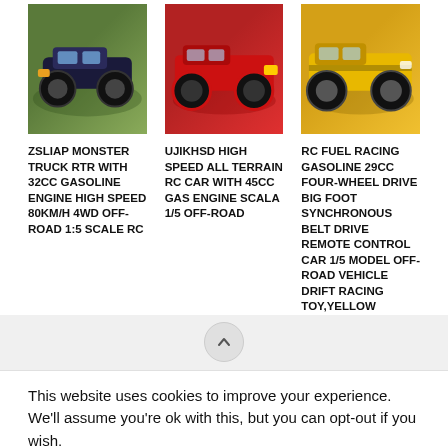[Figure (photo): Photo of ZSLIAP monster truck RC car on grass, dark blue/purple color]
[Figure (photo): Photo of UJIKHSD high speed RC car, red color on surface]
[Figure (photo): Photo of RC Fuel Racing RC car, yellow/black color]
ZSLIAP MONSTER TRUCK RTR WITH 32CC GASOLINE ENGINE HIGH SPEED 80KM/H 4WD OFF-ROAD 1:5 SCALE RC
UJIKHSD HIGH SPEED ALL TERRAIN RC CAR WITH 45CC GAS ENGINE SCALA 1/5 OFF-ROAD
RC FUEL RACING GASOLINE 29CC FOUR-WHEEL DRIVE BIG FOOT SYNCHRONOUS BELT DRIVE REMOTE CONTROL CAR 1/5 MODEL OFF-ROAD VEHICLE DRIFT RACING TOY,YELLOW
This website uses cookies to improve your experience. We'll assume you're ok with this, but you can opt-out if you wish.
Accept
Reject
Read More